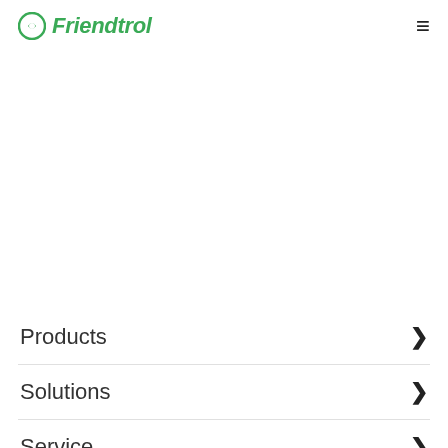Friendtrol
Products
Solutions
Service